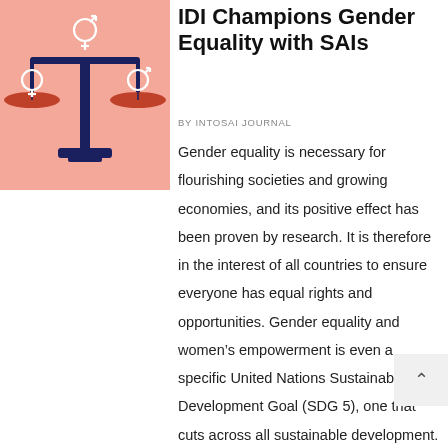[Figure (illustration): A scales of justice illustration on a pink/salmon background. The scale has two pans, each containing a gender symbol (male and female). The beam and pillar are dark navy blue, and the pans are terracotta/coral colored.]
IDI Champions Gender Equality with SAIs
BY INTOSAI JOURNAL
Gender equality is necessary for flourishing societies and growing economies, and its positive effect has been proven by research. It is therefore in the interest of all countries to ensure everyone has equal rights and opportunities. Gender equality and women's empowerment is even a specific United Nations Sustainable Development Goal (SDG 5), one that cuts across all sustainable development. Yet, to date, progress in the world has